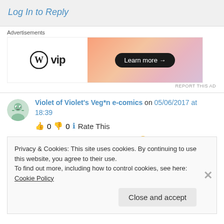Log In to Reply
Advertisements
[Figure (other): WordPress VIP advertisement banner with orange-pink gradient and Learn more button]
REPORT THIS AD
Violet of Violet's Veg*n e-comics on 05/06/2017 at 18:39
👍 0 👎 0 ℹ Rate This
This is all very interesting! 🙂
Privacy & Cookies: This site uses cookies. By continuing to use this website, you agree to their use.
To find out more, including how to control cookies, see here: Cookie Policy
Close and accept